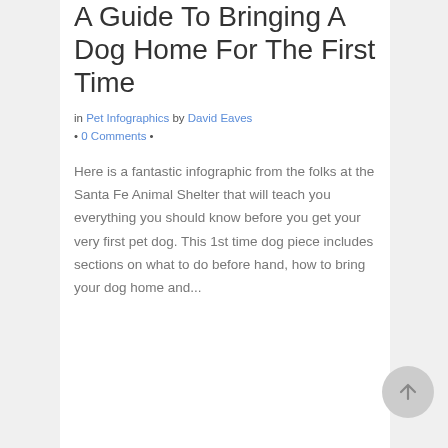A Guide To Bringing A Dog Home For The First Time
in Pet Infographics by David Eaves • 0 Comments •
Here is a fantastic infographic from the folks at the Santa Fe Animal Shelter that will teach you everything you should know before you get your very first pet dog. This 1st time dog piece includes sections on what to do before hand, how to bring your dog home and...